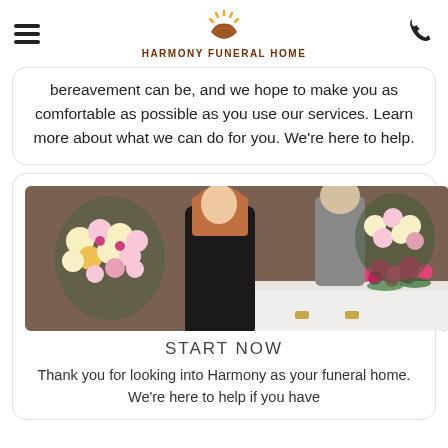HARMONY FUNERAL HOME
bereavement can be, and we hope to make you as comfortable as possible as you use our services. Learn more about what we can do for you. We're here to help.
[Figure (photo): Woman in black jacket holding flowers beside a white casket with pink roses at a funeral service]
START NOW
Thank you for looking into Harmony as your funeral home. We're here to help if you have